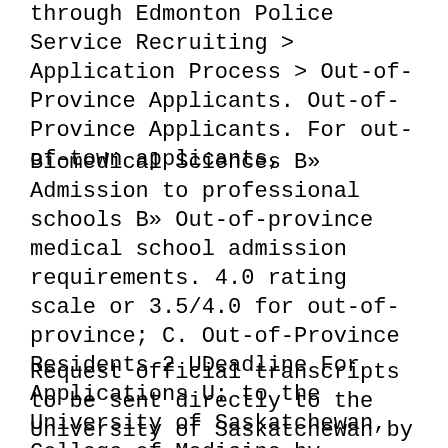through Edmonton Police Service Recruiting > Application Process > Out-of-Province Applicants. Out-of-Province Applicants. For out-of-town applicants,
Biomedical Sciences B» Admission to professional schools B» Out-of-province medical school admission requirements. 4.0 rating scale or 3.5/4.0 for out-of-province; C. Out-of-Province Residents 2 UDeadline For Applications U: to the University of Saskatchewan, College of Medicine by October 31. P. st. P
Request official transcripts to be sent directly to the University of Saskatchewan by the Ministry of Education: as soon as possible, after